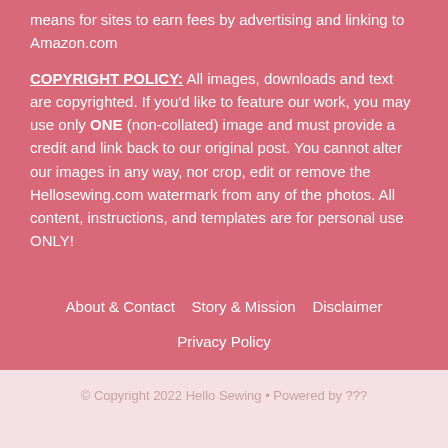means for sites to earn fees by advertising and linking to Amazon.com
COPYRIGHT POLICY: All images, downloads and text are copyrighted. If you'd like to feature our work, you may use only ONE (non-collated) image and must provide a credit and link back to our original post. You cannot alter our images in any way, nor crop, edit or remove the Hellosewing.com watermark from any of the photos. All content, instructions, and templates are for personal use ONLY!
About & Contact   Story & Mission   Disclaimer
Privacy Policy
© Copyright 2022 Hello Sewing • Powered by ???